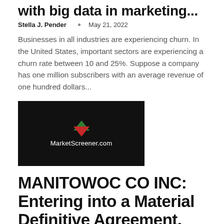with big data in marketing...
Stella J. Pender  •  May 21, 2022
Businesses in all industries are experiencing churn. In the United States, important sectors are experiencing a churn rate between 10 and 25%. Suppose a company has one million subscribers with an average revenue of one hundred dollars...
[Figure (logo): MarketScreener.com logo on black background with green and red arrow triangles]
MANITOWOC CO INC: Entering into a Material Definitive Agreement, Creating